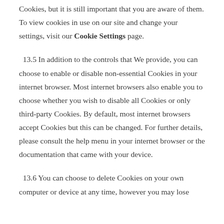Cookies, but it is still important that you are aware of them. To view cookies in use on our site and change your settings, visit our Cookie Settings page.
13.5 In addition to the controls that We provide, you can choose to enable or disable non-essential Cookies in your internet browser. Most internet browsers also enable you to choose whether you wish to disable all Cookies or only third-party Cookies. By default, most internet browsers accept Cookies but this can be changed. For further details, please consult the help menu in your internet browser or the documentation that came with your device.
13.6 You can choose to delete Cookies on your own computer or device at any time, however you may lose